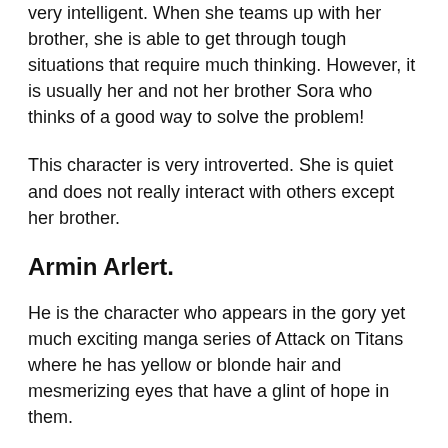very intelligent. When she teams up with her brother, she is able to get through tough situations that require much thinking. However, it is usually her and not her brother Sora who thinks of a good way to solve the problem!
This character is very introverted. She is quiet and does not really interact with others except her brother.
Armin Arlert.
He is the character who appears in the gory yet much exciting manga series of Attack on Titans where he has yellow or blonde hair and mesmerizing eyes that have a glint of hope in them.